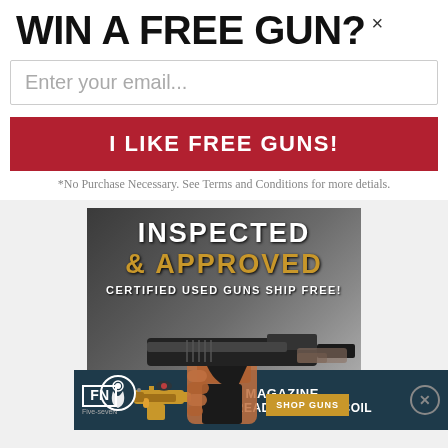WIN A FREE GUN? ×
Enter your email...
I LIKE FREE GUNS!
*No Purchase Necessary. See Terms and Conditions for more detials.
[Figure (photo): Advertisement showing a gun being inspected with text INSPECTED & APPROVED, CERTIFIED USED GUNS SHIP FREE!]
[Figure (advertisement): FN Five-seveN banner ad: 20-RD MAGAZINE MRD-READY | LOW RECOIL]